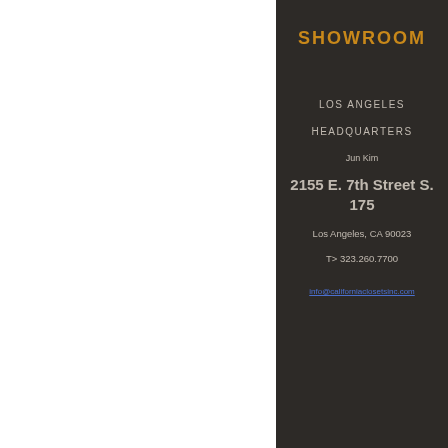SHOWROOM
LOS ANGELES
HEADQUARTERS
Jun Kim
2155 E. 7th Street S. 175
Los Angeles, CA 90023
T> 323.260.7700
info@californiaclosetsinc.com